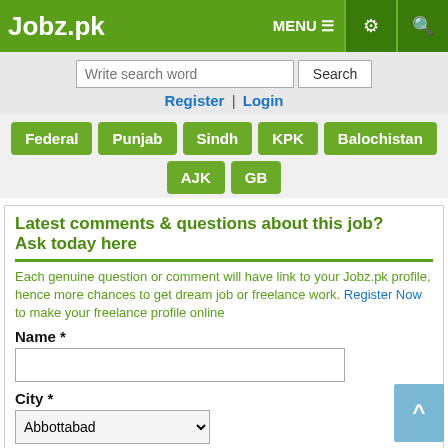Jobz.pk | MENU ☰ ⚙ 🔍
Write search word | Search
Register | Login
Federal
Punjab
Sindh
KPK
Balochistan
AJK
GB
Latest comments & questions about this job? Ask today here
Each genuine question or comment will have link to your Jobz.pk profile, hence more chances to get dream job or freelance work. Register Now to make your freelance profile online
Name *
City *
Abbottabad
Mobile *
Email *